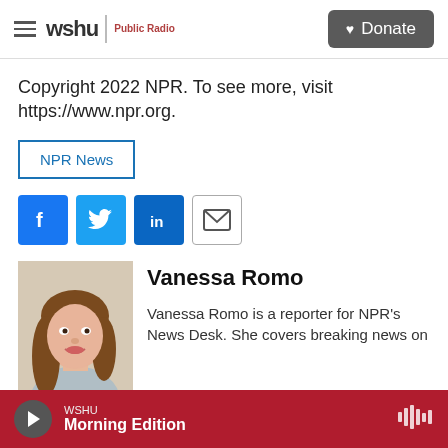WSHU Public Radio — Donate
Copyright 2022 NPR. To see more, visit https://www.npr.org.
NPR News
[Figure (infographic): Social media share icons: Facebook, Twitter, LinkedIn, Email]
[Figure (photo): Headshot photo of Vanessa Romo]
Vanessa Romo
Vanessa Romo is a reporter for NPR's News Desk. She covers breaking news on
WSHU — Morning Edition (audio player bar)